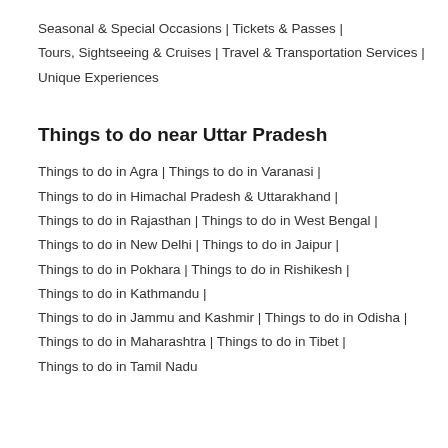Seasonal & Special Occasions | Tickets & Passes | Tours, Sightseeing & Cruises | Travel & Transportation Services | Unique Experiences
Things to do near Uttar Pradesh
Things to do in Agra | Things to do in Varanasi | Things to do in Himachal Pradesh & Uttarakhand | Things to do in Rajasthan | Things to do in West Bengal | Things to do in New Delhi | Things to do in Jaipur | Things to do in Pokhara | Things to do in Rishikesh | Things to do in Kathmandu | Things to do in Jammu and Kashmir | Things to do in Odisha | Things to do in Maharashtra | Things to do in Tibet | Things to do in Tamil Nadu